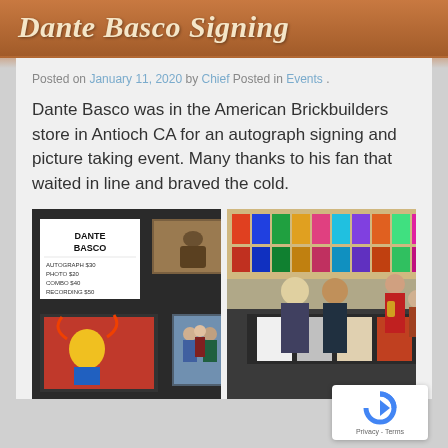Dante Basco Signing
Posted on January 11, 2020 by Chief Posted in Events .
Dante Basco was in the American Brickbuilders store in Antioch CA for an autograph signing and picture taking event. Many thanks to his fan that waited in line and braved the cold.
[Figure (photo): Left photo: signing event signage showing DANTE BASCO with prices: AUTOGRAPH $30, PHOTO $20, COMBO $40, RECORDING $50, along with framed artwork and photographs on a dark display table]
[Figure (photo): Right photo: Dante Basco at a signing table in a store surrounded by fans and merchandise shelves in the background]